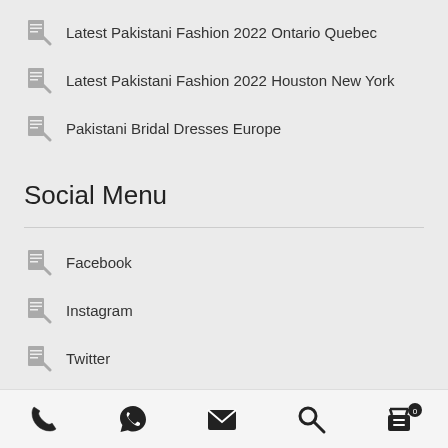Latest Pakistani Fashion 2022 Ontario Quebec
Latest Pakistani Fashion 2022 Houston New York
Pakistani Bridal Dresses Europe
Social Menu
Facebook
Instagram
Twitter
Pinterest